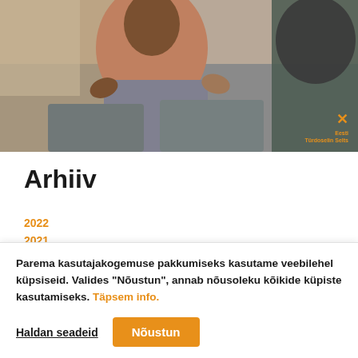[Figure (photo): Two people sitting on sofas in conversation, one person gesturing with hands wearing a pink/salmon top, another person partially visible from behind, with an orange logo overlay in the bottom right corner]
Arhiiv
2022
2021
Parema kasutajakogemuse pakkumiseks kasutame veebilehel küpsiseid. Valides "Nõustun", annab nõusoleku kõikide küpiste kasutamiseks. Täpsem info.
Haldan seadeid
Nõustun